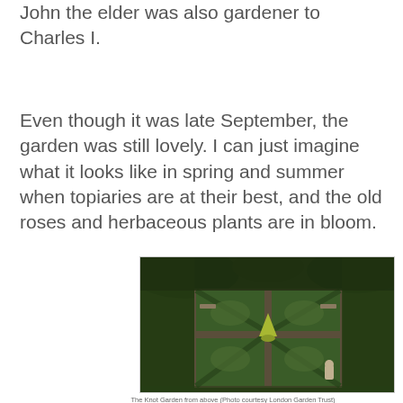John the elder was also gardener to Charles I.
Even though it was late September, the garden was still lovely. I can just imagine what it looks like in spring and summer when topiaries are at their best, and the old roses and herbaceous plants are in bloom.
[Figure (photo): Aerial view of a formal knot garden with geometric hedge patterns, a central topiary, pathways, and surrounding greenery. Benches and a sundial or statue are visible.]
The Knot Garden from above (Photo courtesy London Garden Trust)